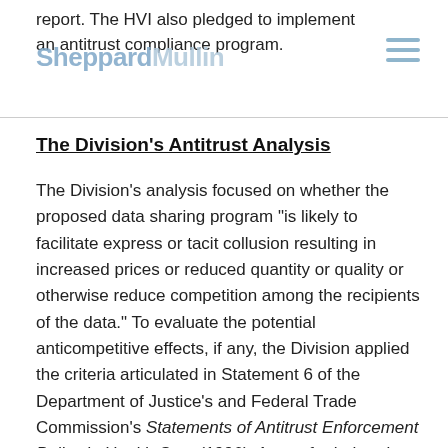report. The HVI also pledged to implement an antitrust compliance program.
The Division's Antitrust Analysis
The Division's analysis focused on whether the proposed data sharing program “is likely to facilitate express or tacit collusion resulting in increased prices or reduced quantity or quality or otherwise reduce competition among the recipients of the data.” To evaluate the potential anticompetitive effects, if any, the Division applied the criteria articulated in Statement 6 of the Department of Justice’s and Federal Trade Commission’s Statements of Antitrust Enforcement Policy in Health Care (1996). As set forth therein, an agency will first decide whether the proposed data sharing program